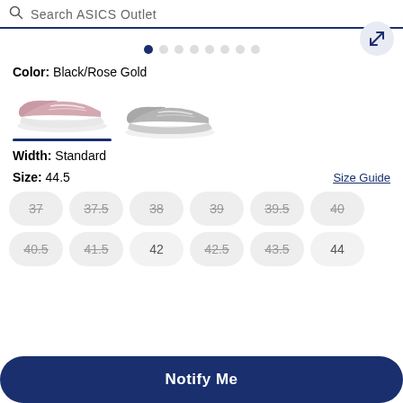Search ASICS Outlet
[Figure (illustration): Image carousel dot navigation with 8 dots, first dot active (dark navy), rest empty circles. Expand/zoom button circle in top-right corner.]
Color: Black/Rose Gold
[Figure (photo): Two sneaker thumbnails: first is pink/rose gold ASICS running shoe with dark selection underline bar below it; second is grey ASICS running shoe.]
Width: Standard
Size: 44.5
Size Guide
37
37.5
38
39
39.5
40
40.5
41.5
42
42.5
43.5
44
Notify Me